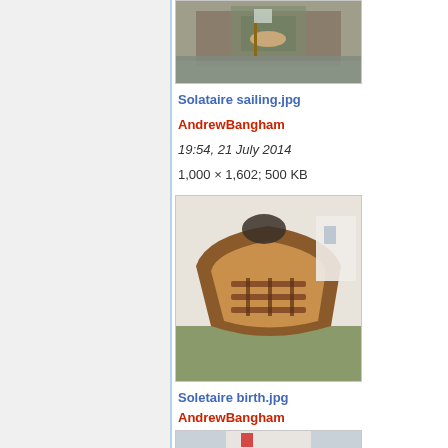[Figure (photo): Partial view of a sailing boat on water, cropped at top]
Solataire sailing.jpg
AndrewBangham
19:54, 21 July 2014
1,000 × 1,602; 500 KB
[Figure (photo): Wooden boat hull from above, showing interior ribs and seating, on grass]
Soletaire birth.jpg
AndrewBangham
18:53, 21 July 2014
1,250 × 1,000; 1.37 MB
[Figure (photo): Partial view of another sailing image, cropped at bottom]